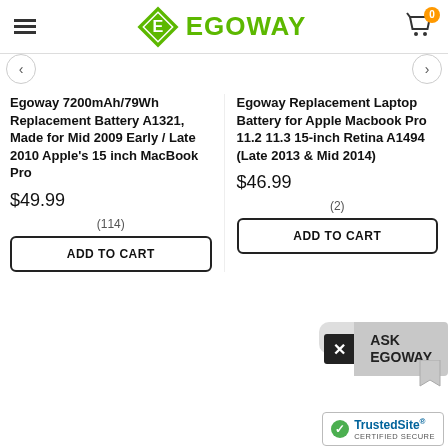EGOWAY — navigation header with hamburger menu, logo, and cart (0 items)
Egoway 7200mAh/79Wh Replacement Battery A1321, Made for Mid 2009 Early / Late 2010 Apple's 15 inch MacBook Pro
$49.99
(114)
ADD TO CART
Egoway Replacement Laptop Battery for Apple Macbook Pro 11.2 11.3 15-inch Retina A1494 (Late 2013 & Mid 2014)
$46.99
(2)
ADD TO CART
[Figure (screenshot): ASK EGOWAY chat widget with close button and cable image]
[Figure (logo): TrustedSite CERTIFIED SECURE badge]